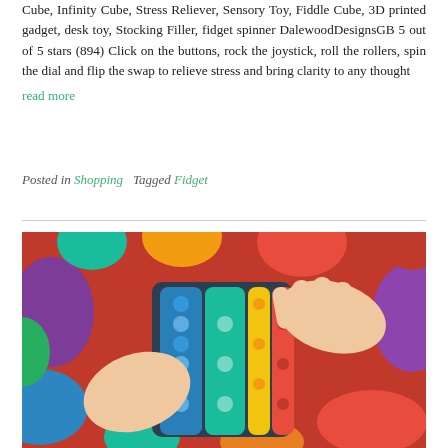Cube, Infinity Cube, Stress Reliever, Sensory Toy, Fiddle Cube, 3D printed gadget, desk toy, Stocking Filler, fidget spinner DalewoodDesignsGB 5 out of 5 stars (894) Click on the buttons, rock the joystick, roll the rollers, spin the dial and flip the swap to relieve stress and bring clarity to any thought
read more
Posted in Shopping   Tagged Fidget
[Figure (photo): Child's hands playing with colorful pop-it fidget sensory toys — silicone bubble poppers in rainbow colors (red, orange, yellow, green, blue, purple) spread across a surface.]